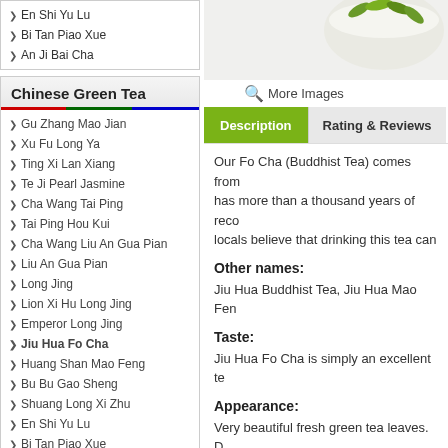En Shi Yu Lu
Bi Tan Piao Xue
An Ji Bai Cha
Chinese Green Tea
Gu Zhang Mao Jian
Xu Fu Long Ya
Ting Xi Lan Xiang
Te Ji Pearl Jasmine
Cha Wang Tai Ping
Tai Ping Hou Kui
Cha Wang Liu An Gua Pian
Liu An Gua Pian
Long Jing
Lion Xi Hu Long Jing
Emperor Long Jing
Jiu Hua Fo Cha
Huang Shan Mao Feng
Bu Bu Gao Sheng
Shuang Long Xi Zhu
En Shi Yu Lu
Bi Tan Piao Xue
An Ji Bai Cha
SPECIALS
[Figure (photo): Photo of tea cup with green tea leaves on white background]
More Images
Description
Rating & Reviews
Our Fo Cha (Buddhist Tea) comes from has more than a thousand years of reco locals believe that drinking this tea can
Other names:
Jiu Hua Buddhist Tea, Jiu Hua Mao Fen
Taste:
Jiu Hua Fo Cha is simply an excellent te
Appearance:
Very beautiful fresh green tea leaves. D previous seasons, this batch of Jiu Hua cup.
Origin: